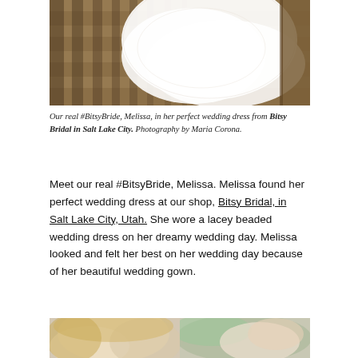[Figure (photo): A white lacy wedding dress spread out on wooden deck planks with sunlight creating shadow patterns]
Our real #BitsyBride, Melissa, in her perfect wedding dress from Bitsy Bridal in Salt Lake City. Photography by Maria Corona.
Meet our real #BitsyBride, Melissa. Melissa found her perfect wedding dress at our shop, Bitsy Bridal, in Salt Lake City, Utah. She wore a lacey beaded wedding dress on her dreamy wedding day. Melissa looked and felt her best on her wedding day because of her beautiful wedding gown.
[Figure (photo): Portrait photo of a blonde bride, partially visible at bottom of page — two figures side by side]